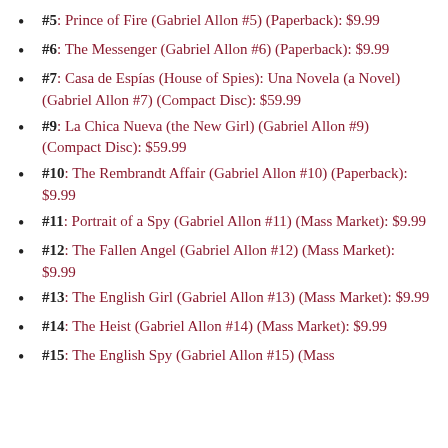#5: Prince of Fire (Gabriel Allon #5) (Paperback): $9.99
#6: The Messenger (Gabriel Allon #6) (Paperback): $9.99
#7: Casa de Espías (House of Spies): Una Novela (a Novel) (Gabriel Allon #7) (Compact Disc): $59.99
#9: La Chica Nueva (the New Girl) (Gabriel Allon #9) (Compact Disc): $59.99
#10: The Rembrandt Affair (Gabriel Allon #10) (Paperback): $9.99
#11: Portrait of a Spy (Gabriel Allon #11) (Mass Market): $9.99
#12: The Fallen Angel (Gabriel Allon #12) (Mass Market): $9.99
#13: The English Girl (Gabriel Allon #13) (Mass Market): $9.99
#14: The Heist (Gabriel Allon #14) (Mass Market): $9.99
#15: The English Spy (Gabriel Allon #15) (Mass